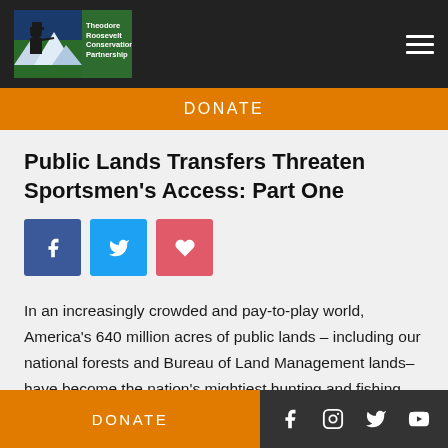[Figure (logo): Theodore Roosevelt Conservation Partnership logo with mountain and hunter silhouette, green and blue background]
DONATE
Public Lands Transfers Threaten Sportsmen's Access: Part One
[Figure (infographic): Social share buttons: Facebook (blue), Twitter (blue), Favorite/heart (red-pink)]
In an increasingly crowded and pay-to-play world, America's 640 million acres of public lands – including our national forests and Bureau of Land Management lands–have become the nation's mightiest hunting and fishing strongholds.
DONATE